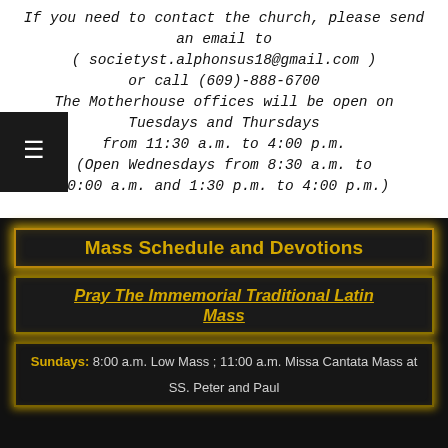If you need to contact the church, please send an email to ( societyst.alphonsus18@gmail.com ) or call (609)-888-6700 The Motherhouse offices will be open on Tuesdays and Thursdays from 11:30 a.m. to 4:00 p.m. (Open Wednesdays from 8:30 a.m. to 10:00 a.m. and 1:30 p.m. to 4:00 p.m.)
Mass Schedule and Devotions
Pray The Immemorial Traditional Latin Mass
Sundays: 8:00 a.m. Low Mass ; 11:00 a.m. Missa Cantata Mass at SS. Peter and Paul